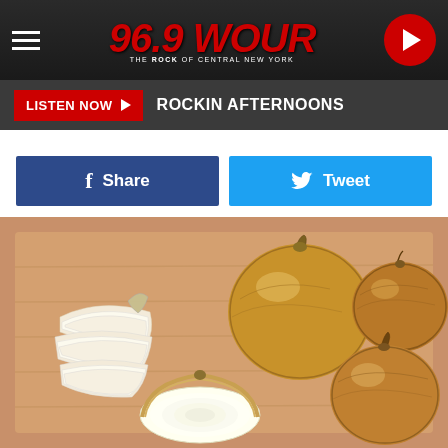96.9 WOUR - THE ROCK OF CENTRAL NEW YORK
LISTEN NOW ▶  ROCKIN AFTERNOONS
f Share   🐦 Tweet
[Figure (photo): Onions on a wooden cutting board: sliced onion pieces on the left, one halved onion in front-center, and three whole brown onions on the right side]